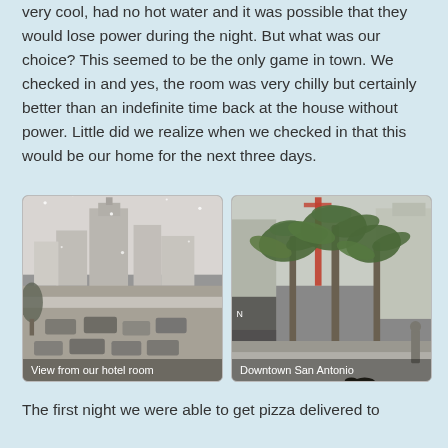very cool, had no hot water and it was possible that they would lose power during the night. But what was our choice? This seemed to be the only game in town. We checked in and yes, the room was very chilly but certainly better than an indefinite time back at the house without power. Little did we realize when we checked in that this would be our home for the next three days.
[Figure (photo): Snowy cityscape view from a hotel room window showing snow-covered streets, parked cars, and buildings in what appears to be San Antonio during a winter storm]
View from our hotel room
[Figure (photo): Downtown San Antonio street scene showing palm trees and buildings with overcast winter sky]
Downtown San Antonio
The first night we were able to get pizza delivered to